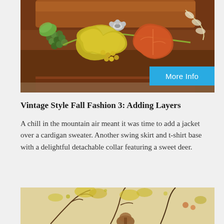[Figure (photo): A decorative wooden jewelry box with hand-painted autumn leaves, grapes, and foliage in yellow, orange, red, and green. The box has a metal clasp and rounded barrel shape.]
Vintage Style Fall Fashion 3: Adding Layers
A chill in the mountain air meant it was time to add a jacket over a cardigan sweater. Another swing skirt and t-shirt base with a delightful detachable collar featuring a sweet deer.
[Figure (photo): Partial view of a nature scene with yellow and brown tones, appearing to show trees or branches with autumn foliage.]